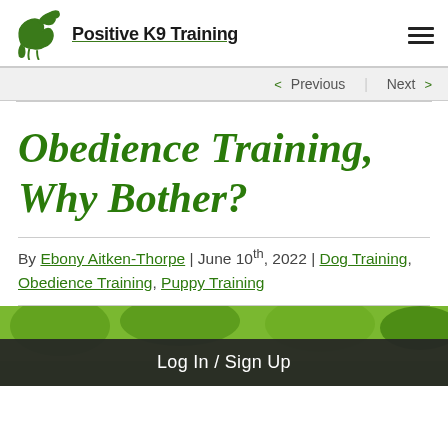Positive K9 Training
< Previous   Next >
Obedience Training, Why Bother?
By Ebony Aitken-Thorpe | June 10th, 2022 | Dog Training, Obedience Training, Puppy Training
[Figure (photo): Outdoor photo showing a person training a dog in a green forested area]
Log In / Sign Up